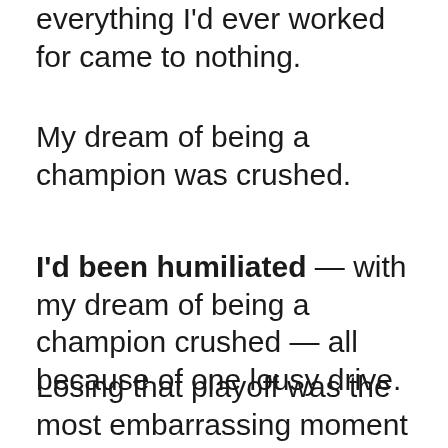everything I'd ever worked for came to nothing.
My dream of being a champion was crushed.
I'd been humiliated — with my dream of being a champion crushed — all because of one lousy drive.
Losing that playoff was the most embarrassing moment of my career…